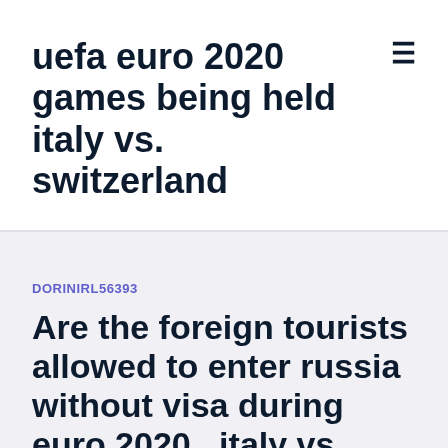uefa euro 2020 games being held italy vs. switzerland
DORINIRL56393
Are the foreign tourists allowed to enter russia without visa during euro 2020_ italy vs. wales
MARK ZUCKERBERG